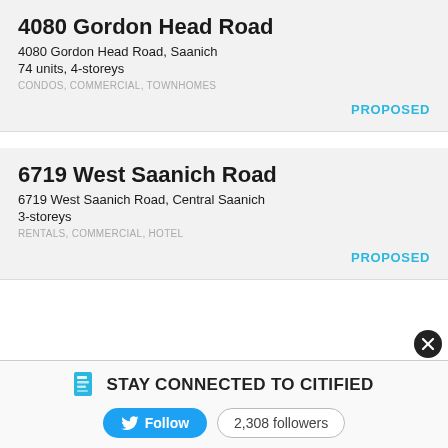4080 Gordon Head Road
4080 Gordon Head Road, Saanich
74 units, 4-storeys
CONDOS, COMMERCIAL, TOWNHOMES
PROPOSED
6719 West Saanich Road
6719 West Saanich Road, Central Saanich
3-storeys
RENTALS, COMMERCIAL, HOTEL
PROPOSED
STAY CONNECTED TO CITIFIED
Follow   2,308 followers